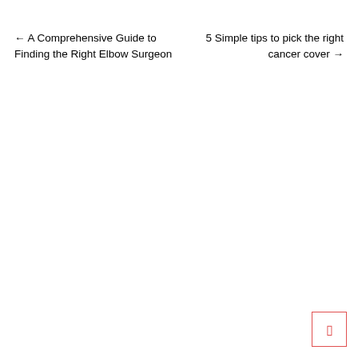← A Comprehensive Guide to Finding the Right Elbow Surgeon
5 Simple tips to pick the right cancer cover →